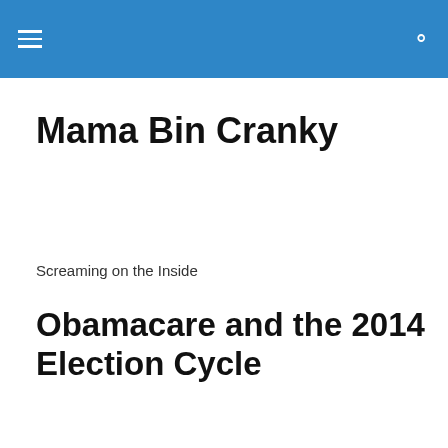Mama Bin Cranky [menu icon] [search icon]
Mama Bin Cranky
Screaming on the Inside
Obamacare and the 2014 Election Cycle
Yesterday, the Obama administration delayed a key
Privacy & Cookies: This site uses cookies. By continuing to use this website, you agree to their use.
To find out more, including how to control cookies, see here: Cookie Policy
Close and accept
This provision will and has resulted in people being